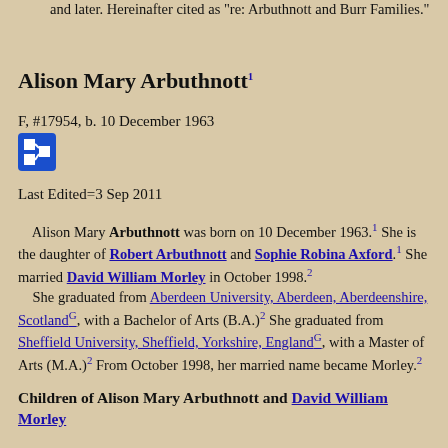and later. Hereinafter cited as "re: Arbuthnott and Burr Families."
Alison Mary Arbuthnott1
F, #17954, b. 10 December 1963
Last Edited=3 Sep 2011
Alison Mary Arbuthnott was born on 10 December 1963.1 She is the daughter of Robert Arbuthnott and Sophie Robina Axford.1 She married David William Morley in October 1998.2 She graduated from Aberdeen University, Aberdeen, Aberdeenshire, ScotlandG, with a Bachelor of Arts (B.A.)2 She graduated from Sheffield University, Sheffield, Yorkshire, EnglandG, with a Master of Arts (M.A.)2 From October 1998, her married name became Morley.2
Children of Alison Mary Arbuthnott and David William Morley